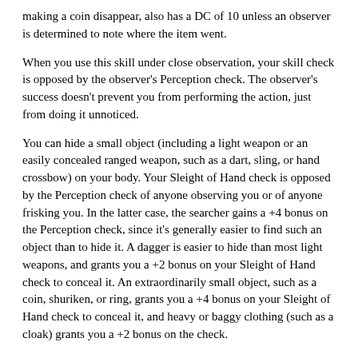making a coin disappear, also has a DC of 10 unless an observer is determined to note where the item went.
When you use this skill under close observation, your skill check is opposed by the observer's Perception check. The observer's success doesn't prevent you from performing the action, just from doing it unnoticed.
You can hide a small object (including a light weapon or an easily concealed ranged weapon, such as a dart, sling, or hand crossbow) on your body. Your Sleight of Hand check is opposed by the Perception check of anyone observing you or of anyone frisking you. In the latter case, the searcher gains a +4 bonus on the Perception check, since it's generally easier to find such an object than to hide it. A dagger is easier to hide than most light weapons, and grants you a +2 bonus on your Sleight of Hand check to conceal it. An extraordinarily small object, such as a coin, shuriken, or ring, grants you a +4 bonus on your Sleight of Hand check to conceal it, and heavy or baggy clothing (such as a cloak) grants you a +2 bonus on the check.
Drawing a hidden weapon is a standard action and doesn't provoke an attack of opportunity.
If you try to take something from a creature, you must make a DC 20